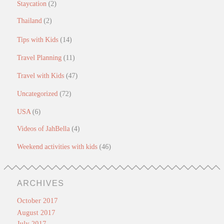Staycation (2)
Thailand (2)
Tips with Kids (14)
Travel Planning (11)
Travel with Kids (47)
Uncategorized (72)
USA (6)
Videos of JahBella (4)
Weekend activities with kids (46)
ARCHIVES
October 2017
August 2017
July 2017
June 2017